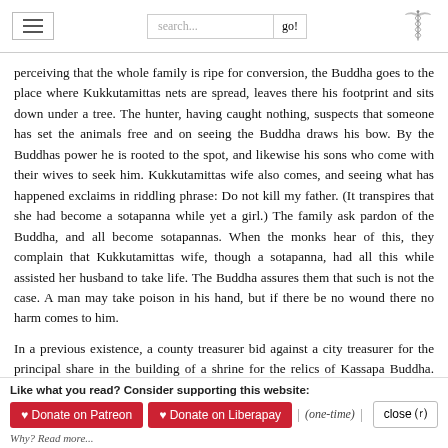Navigation header with hamburger menu, search box, and caduceus logo
perceiving that the whole family is ripe for conversion, the Buddha goes to the place where Kukkutamittas nets are spread, leaves there his footprint and sits down under a tree. The hunter, having caught nothing, suspects that someone has set the animals free and on seeing the Buddha draws his bow. By the Buddhas power he is rooted to the spot, and likewise his sons who come with their wives to seek him. Kukkutamittas wife also comes, and seeing what has happened exclaims in riddling phrase: Do not kill my father. (It transpires that she had become a sotapanna while yet a girl.) The family ask pardon of the Buddha, and all become sotapannas. When the monks hear of this, they complain that Kukkutamittas wife, though a sotapanna, had all this while assisted her husband to take life. The Buddha assures them that such is not the case. A man may take poison in his hand, but if there be no wound there no harm comes to him.
In a previous existence, a county treasurer bid against a city treasurer for the principal share in the building of a shrine for the relics of Kassapa Buddha. When the city treasurer bid more than the county treasurer possessed, the latter offered to devote himself to the service of the shrine, together with his wife, his seven sons and their wives. Kukkutamitta was the county treasurer. DhA.iii.24-31
Like what you read? Consider supporting this website:
♥ Donate on Patreon
♥ Donate on Liberapay
(one-time)
Why? Read more...